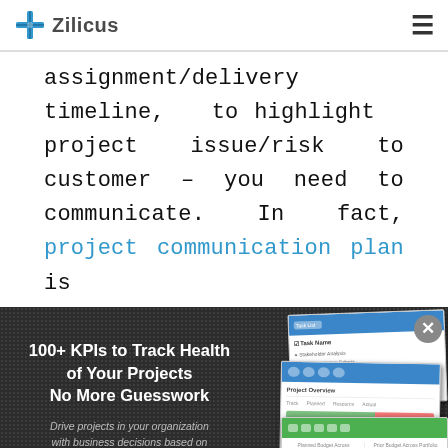Zilicus
assignment/delivery timeline, to highlight project issue/risk to customer – you need to communicate. In fact, project communication plan is
[Figure (screenshot): Zilicus PM advertisement banner with dark dotted background. Left side shows headline '100+ KPIs to Track Health of Your Projects No More Guesswork', body text 'Drive projects in your organization with business decisions based on facts: KPIs, metrics and not gut feeling', and an orange CTA button 'Try ZilicusPM for Free'. Right side shows stacked screenshots of the ZilicusPM project management dashboard interface. A close (X) button appears in the top-right corner.]